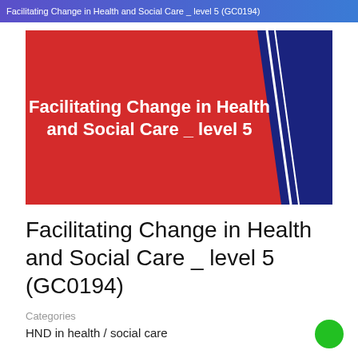Facilitating Change in Health and Social Care _ level 5 (GC0194)
[Figure (illustration): Course thumbnail image with red background and dark blue triangular panel on the right with white diagonal lines. Bold white text reads: Facilitating Change in Health and Social Care _ level 5]
Facilitating Change in Health and Social Care _ level 5 (GC0194)
Categories
HND in health / social care